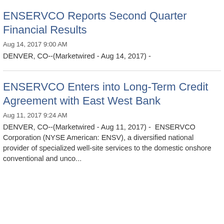ENSERVCO Reports Second Quarter Financial Results
Aug 14, 2017 9:00 AM
DENVER, CO--(Marketwired - Aug 14, 2017) -
ENSERVCO Enters into Long-Term Credit Agreement with East West Bank
Aug 11, 2017 9:24 AM
DENVER, CO--(Marketwired - Aug 11, 2017) -  ENSERVCO Corporation (NYSE American: ENSV), a diversified national provider of specialized well-site services to the domestic onshore conventional and unco...